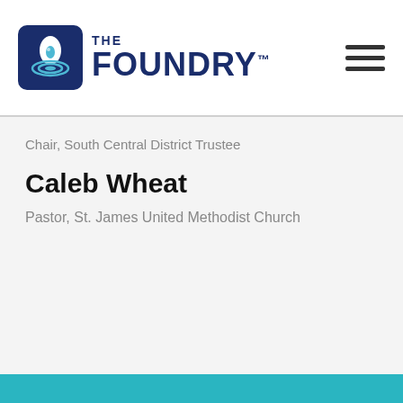[Figure (logo): The Foundry logo with circular water drop icon and bold navy blue text reading THE FOUNDRY with trademark symbol]
Chair, South Central District Trustee
Caleb Wheat
Pastor, St. James United Methodist Church
Get Involved: